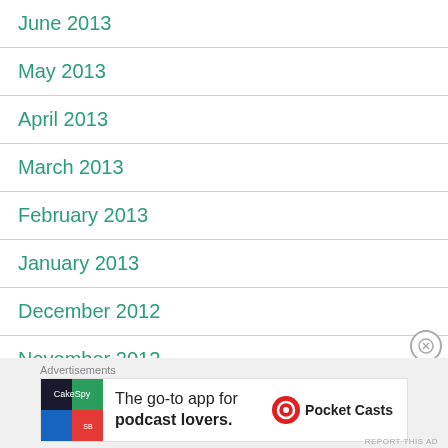June 2013
May 2013
April 2013
March 2013
February 2013
January 2013
December 2012
November 2012
Advertisements
The go-to app for podcast lovers. Pocket Casts
REPORT THIS AD